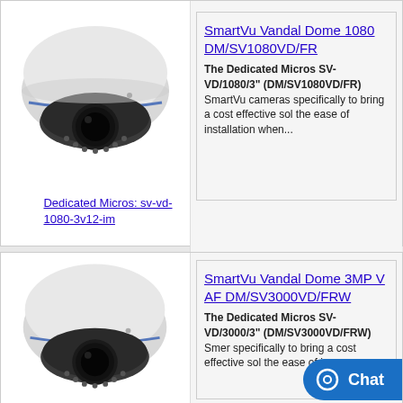[Figure (photo): SmartVu Vandal Dome 1080 camera product photo - white dome camera with black lens]
[Figure (illustration): Dedicated Micros sv-vd-1080-3v12-im product image link]
SmartVu Vandal Dome 1080 DM/SV1080VD/FR
The Dedicated Micros SV-VD/1080/3" (DM/SV1080VD/FR) SmartVu cameras specifically to bring a cost effective sol the ease of installation when...
[Figure (photo): SmartVu Vandal Dome 3MP camera product photo - white dome camera with black lens]
SmartVu Vandal Dome 3MP V AF DM/SV3000VD/FRW
The Dedicated Micros SV-VD/3000/3" (DM/SV3000VD/FRW) SmartVu cameras specifically to bring a cost effective sol the ease of ins...